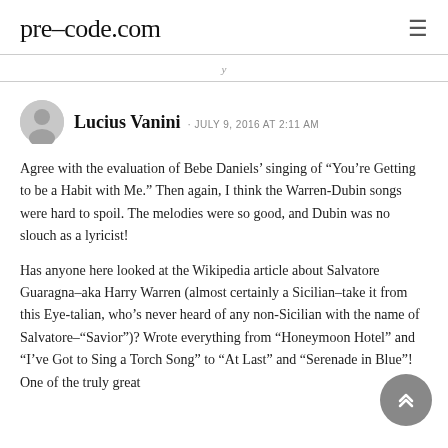pre-code.com
Lucius Vanini · JULY 9, 2016 AT 2:11 AM
Agree with the evaluation of Bebe Daniels’ singing of “You’re Getting to be a Habit with Me.” Then again, I think the Warren-Dubin songs were hard to spoil. The melodies were so good, and Dubin was no slouch as a lyricist!
Has anyone here looked at the Wikipedia article about Salvatore Guaragna–aka Harry Warren (almost certainly a Sicilian–take it from this Eye-talian, who’s never heard of any non-Sicilian with the name of Salvatore–“Savior”)? Wrote everything from “Honeymoon Hotel” and “I’ve Got to Sing a Torch Song” to “At Last” and “Serenade in Blue”! One of the truly great